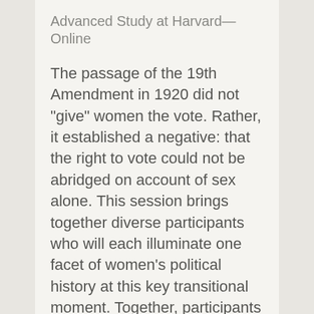Advanced Study at Harvard—Online
The passage of the 19th Amendment in 1920 did not "give" women the vote. Rather, it established a negative: that the right to vote could not be abridged on account of sex alone. This session brings together diverse participants who will each illuminate one facet of women's political history at this key transitional moment. Together, participants will emphasize the radical achievement of the amendment, exploring the full